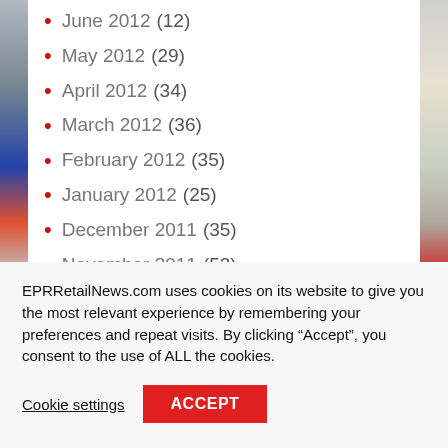June 2012 (12)
May 2012 (29)
April 2012 (34)
March 2012 (36)
February 2012 (35)
January 2012 (25)
December 2011 (35)
November 2011 (52)
EPRRetailNews.com uses cookies on its website to give you the most relevant experience by remembering your preferences and repeat visits. By clicking “Accept”, you consent to the use of ALL the cookies.
Cookie settings  ACCEPT